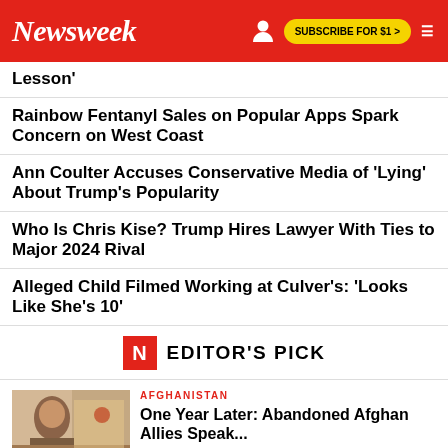Newsweek | SUBSCRIBE FOR $1 >
Lesson'
Rainbow Fentanyl Sales on Popular Apps Spark Concern on West Coast
Ann Coulter Accuses Conservative Media of 'Lying' About Trump's Popularity
Who Is Chris Kise? Trump Hires Lawyer With Ties to Major 2024 Rival
Alleged Child Filmed Working at Culver's: 'Looks Like She's 10'
EDITOR'S PICK
AFGHANISTAN
One Year Later: Abandoned Afghan Allies Speak...